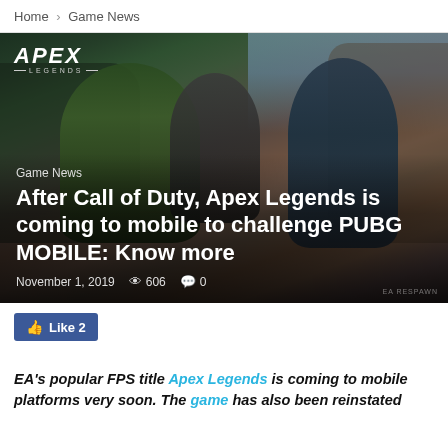Home › Game News
[Figure (photo): Apex Legends promotional hero image showing three armored characters in action poses against a rocky/urban backdrop, with Apex Legends logo in top-left corner]
Game News
After Call of Duty, Apex Legends is coming to mobile to challenge PUBG MOBILE: Know more
November 1, 2019   606   0
Like 2
EA's popular FPS title Apex Legends is coming to mobile platforms very soon. The game has also been reinstated